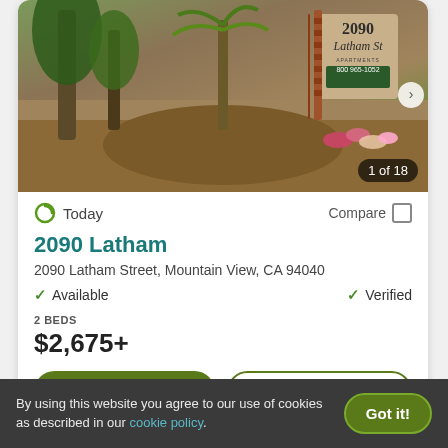[Figure (photo): Exterior photo of 2090 Latham Street Apartments with a brick sign showing the address and phone number 800 965-1052, surrounded by palm trees and flowering plants. Counter shows 1 of 18.]
Today
Compare
2090 Latham
2090 Latham Street, Mountain View, CA 94040
Available
Verified
2 BEDS
$2,675+
View Details
Contact Property
By using this website you agree to our use of cookies as described in our cookie policy.
Got it!